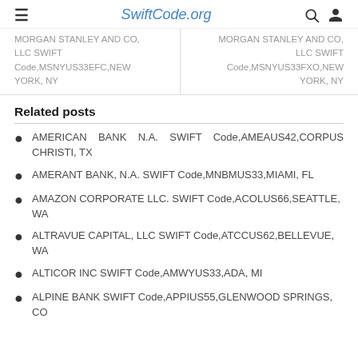SwiftCode.org
MORGAN STANLEY AND CO, LLC SWIFT Code,MSNYUS33EFC,NEW YORK, NY
MORGAN STANLEY AND CO, LLC SWIFT Code,MSNYUS33FXO,NEW YORK, NY
Related posts
AMERICAN BANK N.A. SWIFT Code,AMEAUS42,CORPUS CHRISTI, TX
AMERANT BANK, N.A. SWIFT Code,MNBMUS33,MIAMI, FL
AMAZON CORPORATE LLC. SWIFT Code,ACOLUS66,SEATTLE, WA
ALTRAVUE CAPITAL, LLC SWIFT Code,ATCCUS62,BELLEVUE, WA
ALTICOR INC SWIFT Code,AMWYUS33,ADA, MI
ALPINE BANK SWIFT Code,APPIUS55,GLENWOOD SPRINGS, CO